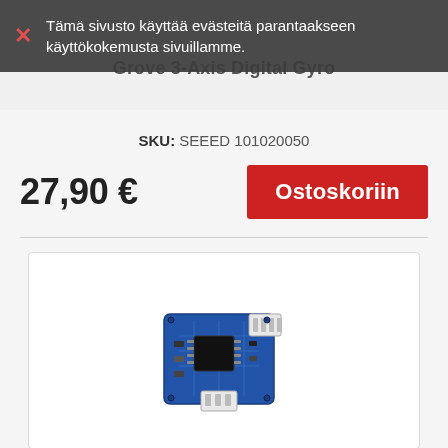Tämä sivusto käyttää evästeitä parantaakseen käyttökokemusta sivuillamme.
Grove 3-Axis Digital Gyro
SKU: SEEED 101020050
27,90 €
Ostoskoriin
[Figure (photo): Grove GSR sensor electronic circuit board with blue PCB and white connectors]
Grove GSR sensor